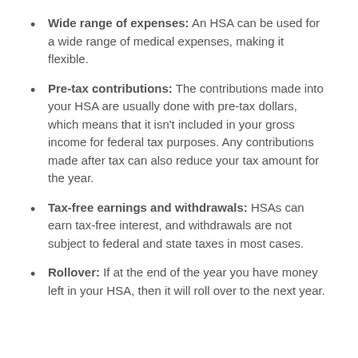Wide range of expenses: An HSA can be used for a wide range of medical expenses, making it flexible.
Pre-tax contributions: The contributions made into your HSA are usually done with pre-tax dollars, which means that it isn't included in your gross income for federal tax purposes. Any contributions made after tax can also reduce your tax amount for the year.
Tax-free earnings and withdrawals: HSAs can earn tax-free interest, and withdrawals are not subject to federal and state taxes in most cases.
Rollover: If at the end of the year you have money left in your HSA, then it will roll over to the next year.